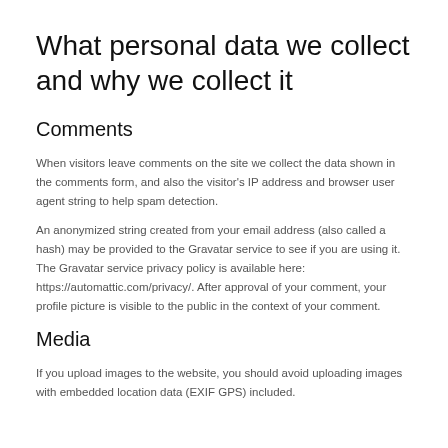What personal data we collect and why we collect it
Comments
When visitors leave comments on the site we collect the data shown in the comments form, and also the visitor's IP address and browser user agent string to help spam detection.
An anonymized string created from your email address (also called a hash) may be provided to the Gravatar service to see if you are using it. The Gravatar service privacy policy is available here: https://automattic.com/privacy/. After approval of your comment, your profile picture is visible to the public in the context of your comment.
Media
If you upload images to the website, you should avoid uploading images with embedded location data (EXIF GPS) included.